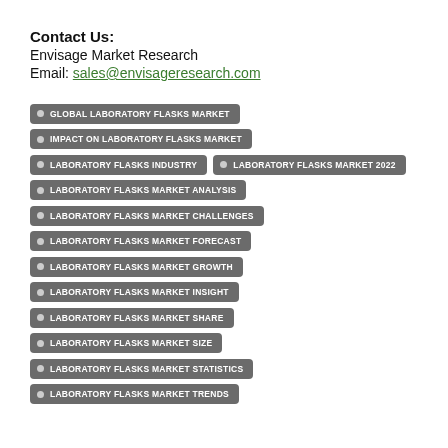Contact Us:
Envisage Market Research
Email: sales@envisageresearch.com
GLOBAL LABORATORY FLASKS MARKET
IMPACT ON LABORATORY FLASKS MARKET
LABORATORY FLASKS INDUSTRY
LABORATORY FLASKS MARKET 2022
LABORATORY FLASKS MARKET ANALYSIS
LABORATORY FLASKS MARKET CHALLENGES
LABORATORY FLASKS MARKET FORECAST
LABORATORY FLASKS MARKET GROWTH
LABORATORY FLASKS MARKET INSIGHT
LABORATORY FLASKS MARKET SHARE
LABORATORY FLASKS MARKET SIZE
LABORATORY FLASKS MARKET STATISTICS
LABORATORY FLASKS MARKET TRENDS